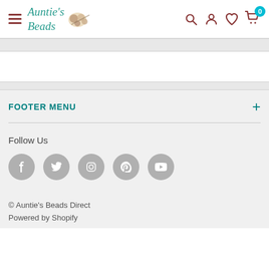Auntie's Beads — navigation header with hamburger menu, logo, search, account, wishlist, and cart icons
FOOTER MENU +
Follow Us
[Figure (infographic): Social media icons: Facebook, Twitter, Instagram, Pinterest, YouTube — all gray circles]
© Auntie's Beads Direct
Powered by Shopify